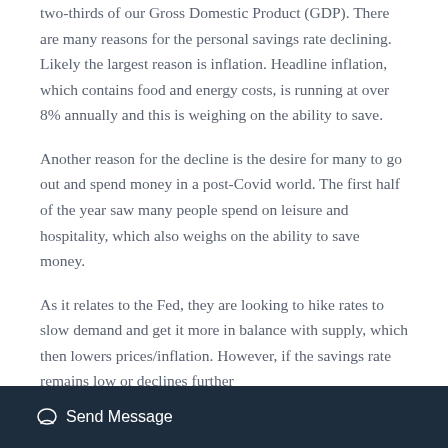two-thirds of our Gross Domestic Product (GDP). There are many reasons for the personal savings rate declining. Likely the largest reason is inflation. Headline inflation, which contains food and energy costs, is running at over 8% annually and this is weighing on the ability to save.
Another reason for the decline is the desire for many to go out and spend money in a post-Covid world. The first half of the year saw many people spend on leisure and hospitality, which also weighs on the ability to save money.
As it relates to the Fed, they are looking to hike rates to slow demand and get it more in balance with supply, which then lowers prices/inflation. However, if the savings rate remains low or declines further
Send Message